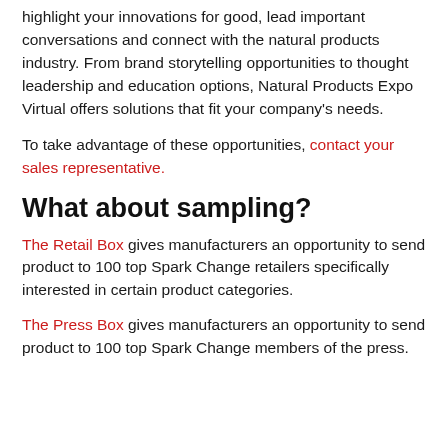highlight your innovations for good, lead important conversations and connect with the natural products industry. From brand storytelling opportunities to thought leadership and education options, Natural Products Expo Virtual offers solutions that fit your company's needs.
To take advantage of these opportunities, contact your sales representative.
What about sampling?
The Retail Box gives manufacturers an opportunity to send product to 100 top Spark Change retailers specifically interested in certain product categories.
The Press Box gives manufacturers an opportunity to send product to 100 top Spark Change members of the press.